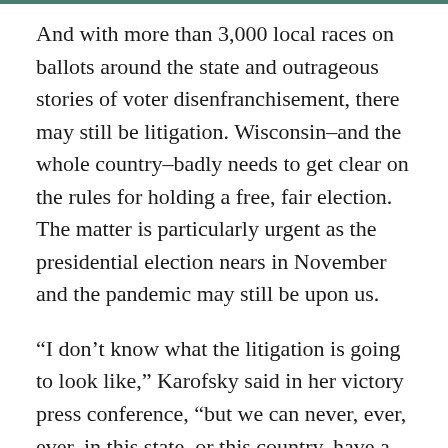And with more than 3,000 local races on ballots around the state and outrageous stories of voter disenfranchisement, there may still be litigation. Wisconsin–and the whole country–badly needs to get clear on the rules for holding a free, fair election. The matter is particularly urgent as the presidential election nears in November and the pandemic may still be upon us.
“I don’t know what the litigation is going to look like,” Karofsky said in her victory press conference, “but we can never, ever, ever, in this state, or this country, have a repeat of the voter suppression tactics that we saw on Tuesday. That can never